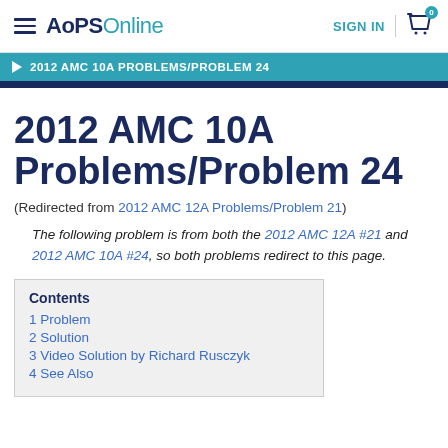AoPS Online — SIGN IN
2012 AMC 10A PROBLEMS/PROBLEM 24
2012 AMC 10A Problems/Problem 24
(Redirected from 2012 AMC 12A Problems/Problem 21)
The following problem is from both the 2012 AMC 12A #21 and 2012 AMC 10A #24, so both problems redirect to this page.
Contents
1 Problem
2 Solution
3 Video Solution by Richard Rusczyk
4 See Also